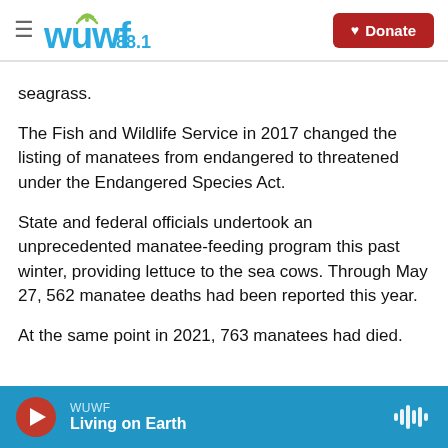WUWF 88.1 | Donate
seagrass.
The Fish and Wildlife Service in 2017 changed the listing of manatees from endangered to threatened under the Endangered Species Act.
State and federal officials undertook an unprecedented manatee-feeding program this past winter, providing lettuce to the sea cows. Through May 27, 562 manatee deaths had been reported this year.
At the same point in 2021, 763 manatees had died.
WUWF | Living on Earth